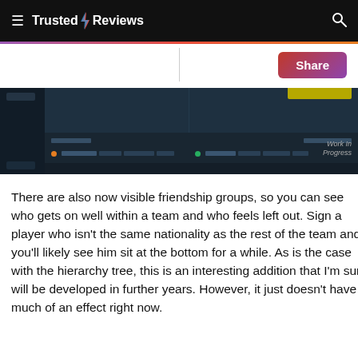Trusted Reviews
[Figure (screenshot): Screenshot of a football management game interface showing squad/staff tables with dark blue UI, two panel sections, work in progress watermark]
There are also now visible friendship groups, so you can see who gets on well within a team and who feels left out. Sign a player who isn't the same nationality as the rest of the team and you'll likely see him sit at the bottom for a while. As is the case with the hierarchy tree, this is an interesting addition that I'm sure will be developed in further years. However, it just doesn't have much of an effect right now.